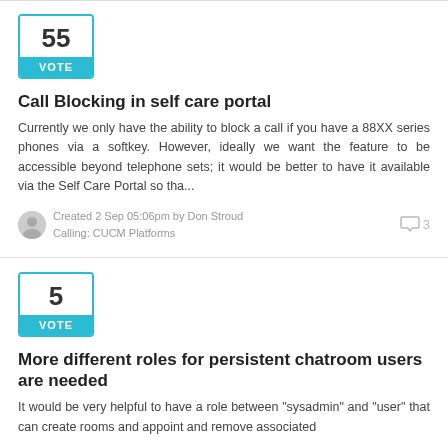[Figure (other): Vote widget showing 55 votes with cyan VOTE label]
Call Blocking in self care portal
Currently we only have the ability to block a call if you have a 88XX series phones via a softkey. However, ideally we want the feature to be accessible beyond telephone sets; it would be better to have it available via the Self Care Portal so tha...
Created 2 Sep 05:06pm by Don Stroud
Calling: CUCM Platforms
[Figure (other): Vote widget showing 5 votes with cyan VOTE label]
More different roles for persistent chatroom users are needed
It would be very helpful to have a role between "sysadmin" and "user" that can create rooms and appoint and remove associated